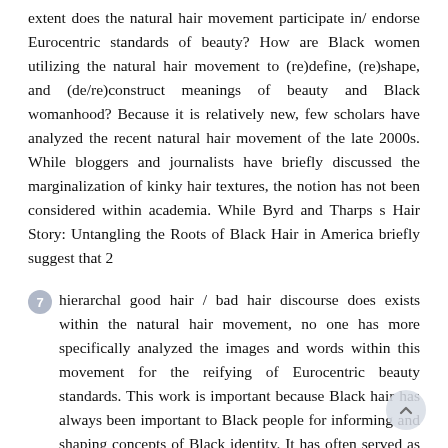extent does the natural hair movement participate in/ endorse Eurocentric standards of beauty? How are Black women utilizing the natural hair movement to (re)define, (re)shape, and (de/re)construct meanings of beauty and Black womanhood? Because it is relatively new, few scholars have analyzed the recent natural hair movement of the late 2000s. While bloggers and journalists have briefly discussed the marginalization of kinky hair textures, the notion has not been considered within academia. While Byrd and Tharps s Hair Story: Untangling the Roots of Black Hair in America briefly suggest that 2
7 hierarchal good hair / bad hair discourse does exists within the natural hair movement, no one has more specifically analyzed the images and words within this movement for the reifying of Eurocentric beauty standards. This work is important because Black hair has always been important to Black people for informing and shaping concepts of Black identity. It has often served as space for assimilation and measurement of proximity to whiteness for Black people. However, hair has also consistently been a space for creativity, autonomy and self-expression among Black people, particularly Black